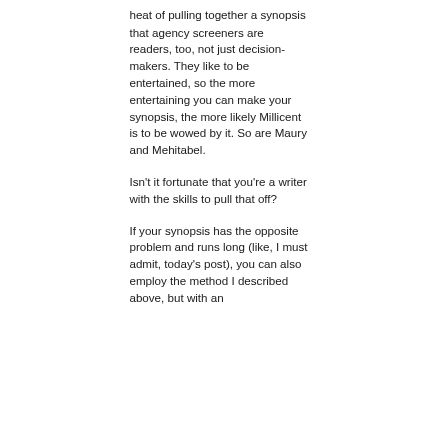heat of pulling together a synopsis that agency screeners are readers, too, not just decision-makers. They like to be entertained, so the more entertaining you can make your synopsis, the more likely Millicent is to be wowed by it. So are Maury and Mehitabel.
Isn't it fortunate that you're a writer with the skills to pull that off?
If your synopsis has the opposite problem and runs long (like, I must admit, today's post), you can also employ the method I described above, but with an